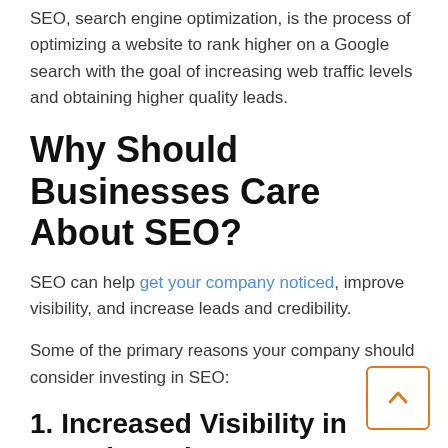SEO, search engine optimization, is the process of optimizing a website to rank higher on a Google search with the goal of increasing web traffic levels and obtaining higher quality leads.
Why Should Businesses Care About SEO?
SEO can help get your company noticed, improve visibility, and increase leads and credibility.
Some of the primary reasons your company should consider investing in SEO:
1. Increased Visibility in Search Engines